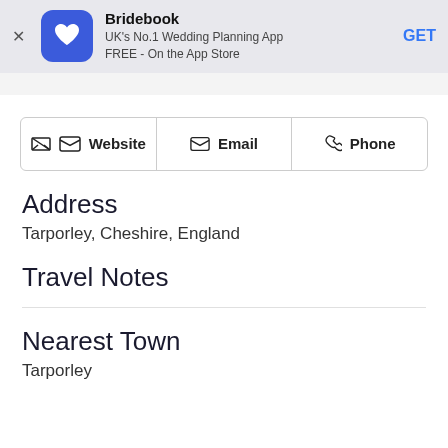[Figure (screenshot): Bridebook app banner with blue heart logo icon, title 'Bridebook', subtitle 'UK's No.1 Wedding Planning App FREE - On the App Store', and GET button]
[Figure (other): Three contact buttons row: Website, Email, Phone]
Address
Tarporley, Cheshire, England
Travel Notes
Nearest Town
Tarporley